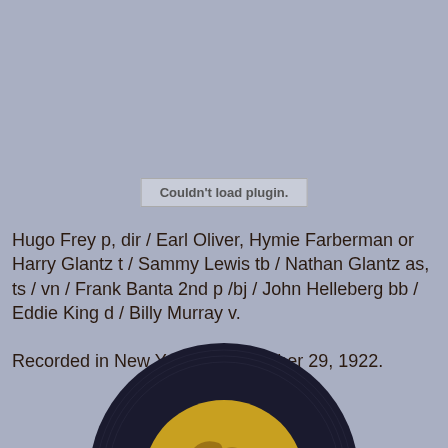[Figure (other): Plugin placeholder box with text 'Couldn't load plugin.']
Hugo Frey p, dir / Earl Oliver, Hymie Farberman or Harry Glantz t / Sammy Lewis tb / Nathan Glantz as, ts / vn / Frank Banta 2nd p /bj / John Helleberg bb / Eddie King d / Billy Murray v.
Recorded in New York on November 29, 1922.
[Figure (photo): Partial view of a vintage gramophone record label, dark with gold lettering and gramophone illustration, cropped at the bottom of the page.]